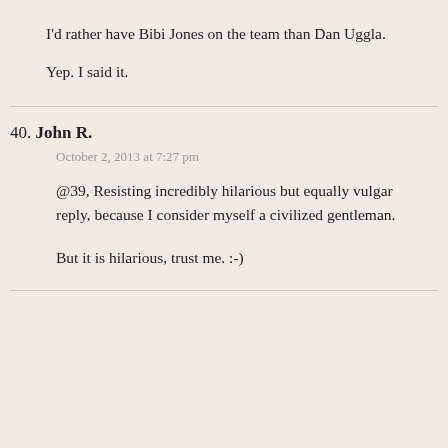I'd rather have Bibi Jones on the team than Dan Uggla.
Yep. I said it.
40. John R.
October 2, 2013 at 7:27 pm
@39, Resisting incredibly hilarious but equally vulgar reply, because I consider myself a civilized gentleman.
But it is hilarious, trust me. :-)